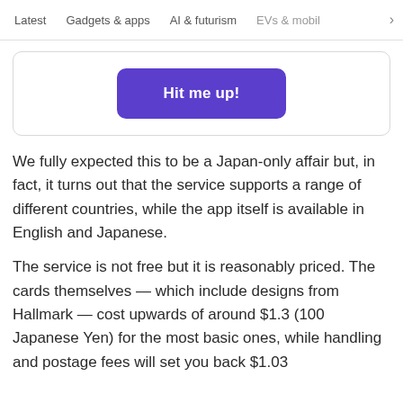Latest   Gadgets & apps   AI & futurism   EVs & mobil >
[Figure (other): A purple rounded button labeled 'Hit me up!' inside a white card with a light border]
We fully expected this to be a Japan-only affair but, in fact, it turns out that the service supports a range of different countries, while the app itself is available in English and Japanese.
The service is not free but it is reasonably priced. The cards themselves — which include designs from Hallmark — cost upwards of around $1.3 (100 Japanese Yen) for the most basic ones, while handling and postage fees will set you back $1.03